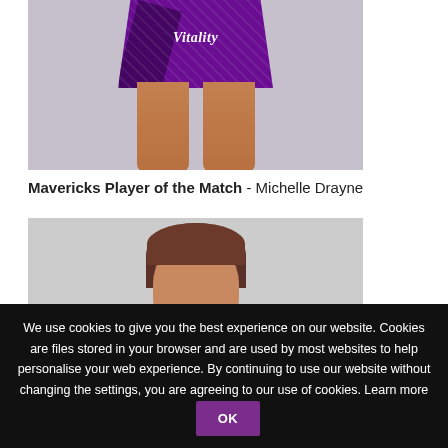[Figure (photo): Lower body of a netball player wearing a purple sequined Vitality skirt against a light grey background]
Mavericks Player of the Match - Michelle Drayne
[Figure (photo): Head and shoulders portrait photo of Michelle Drayne, a young woman with brown hair, smiling, against a grey background]
We use cookies to give you the best experience on our website. Cookies are files stored in your browser and are used by most websites to help personalise your web experience. By continuing to use our website without changing the settings, you are agreeing to our use of cookies. Learn more OK